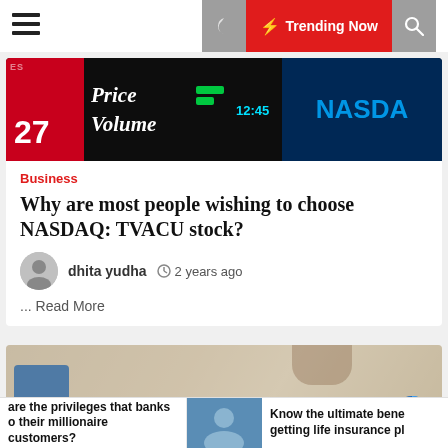Trending Now
[Figure (photo): NASDAQ stock ticker display showing Price, Volume, 12:45 time, and NASDAQ logo on dark background with red panel showing number 27]
Business
Why are most people wishing to choose NASDAQ: TVACU stock?
dhita yudha   2 years ago
... Read More
[Figure (photo): Insurance concept photo showing people at table with large INSURANCE text banner, glasses, tablet, and documents with pie chart]
are the privileges that banks o their millionaire customers?
Know the ultimate bene getting life insurance pl